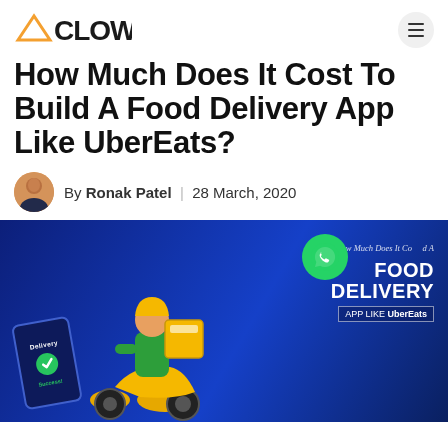[Figure (logo): ACLOW'D logo with orange triangle and dark text]
How Much Does It Cost To Build A Food Delivery App Like UberEats?
By Ronak Patel | 28 March, 2020
[Figure (illustration): Hero banner with dark blue background showing a cartoon delivery rider on yellow scooter, a phone showing 'Delivery Success', and text 'How Much Does It Cost To Build A FOOD DELIVERY APP LIKE UberEats' with a WhatsApp icon overlay]